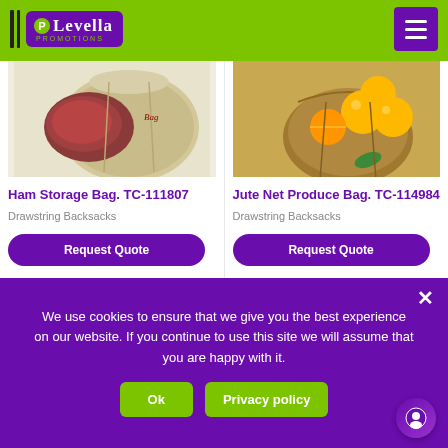[Figure (logo): Levella Promotions logo with green and purple branding on green header bar with hamburger menu button]
[Figure (photo): Ham Storage Bag TC-111807 product image showing a tan drawstring bag with a ham/meat item]
Ham Storage Bag. TC-111807
Drawstring Backsacks
Request Quote
[Figure (photo): Jute Net Produce Bag TC-114984 product image showing a burlap/jute bag with oranges/lemons spilling out]
Jute Net Produce Bag. TC-114984
Drawstring Backsacks
Request Quote
We use cookies to ensure that we give you the best experience on our website. If you continue to use this site we will assume that you are happy with it.
Ok
Privacy policy